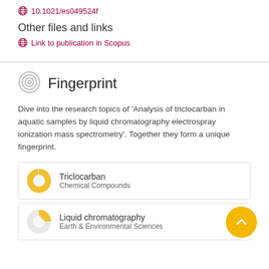10.1021/es049524f
Other files and links
Link to publication in Scopus
Fingerprint
Dive into the research topics of 'Analysis of triclocarban in aquatic samples by liquid chromatography electrospray ionization mass spectrometry'. Together they form a unique fingerprint.
Triclocarban
Chemical Compounds
Liquid chromatography
Earth & Environmental Sciences